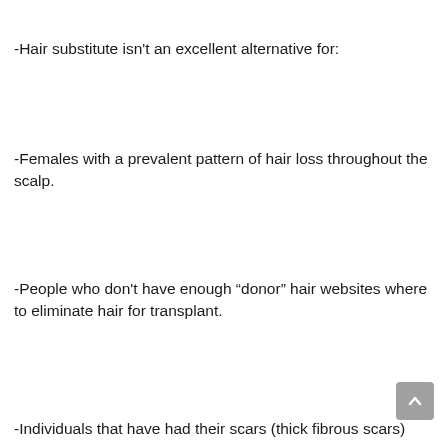-Hair substitute isn't an excellent alternative for:
-Females with a prevalent pattern of hair loss throughout the scalp.
-People who don't have enough “donor” hair websites where to eliminate hair for transplant.
-Individuals that have had their scars (thick fibrous scars)